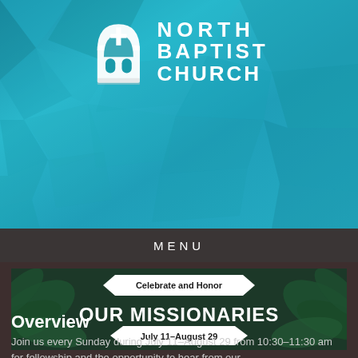[Figure (logo): North Baptist Church logo: white church building icon with arched windows and cross, next to 'NORTH BAPTIST CHURCH' text in white capital letters on teal/blue geometric background]
MENU
[Figure (illustration): Missionary celebration banner on dark green tropical background with palm leaves. Contains hexagon badge 'Celebrate and Honor' at top, large white bold text 'OUR MISSIONARIES', and hexagon badge 'July 11–August 29' at bottom]
Overview
Join us every Sunday during July 11–August 29 from 10:30–11:30 am for fellowship and the opportunity to hear from our